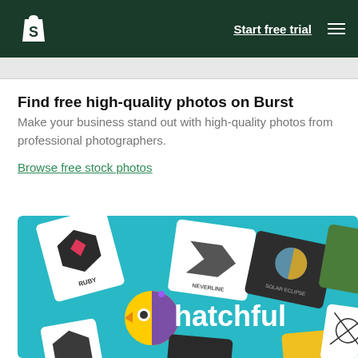Shopify — Start free trial
Find free high-quality photos on Burst
Make your business stand out with high-quality photos from professional photographers.
Browse free stock photos
[Figure (screenshot): Hatchful logo maker promotional image showing multiple logo cards on a teal background with the Hatchful bird logo and wordmark. Visible logo cards include RUBY (dark hexagon), NEVERLINE (geometric arrow), SOLAR ECLIPSE (dark card with globe icon), and other partially visible logos.]